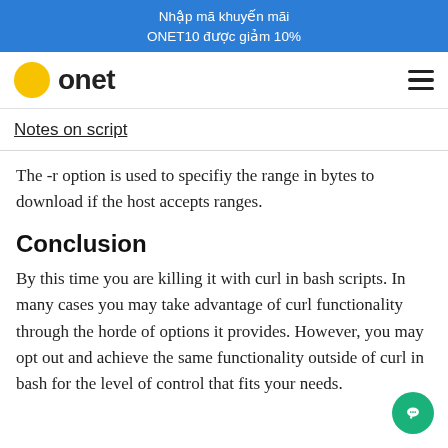Nhập mã khuyến mãi ONET10 được giảm 10%
[Figure (logo): Onet logo: yellow circle with 'onet' text and hamburger menu icon]
Notes on script
The -r option is used to specifiy the range in bytes to download if the host accepts ranges.
Conclusion
By this time you are killing it with curl in bash scripts. In many cases you may take advantage of curl functionality through the horde of options it provides. However, you may opt out and achieve the same functionality outside of curl in bash for the level of control that fits your needs.